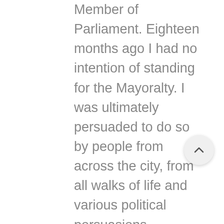Member of Parliament. Eighteen months ago I had no intention of standing for the Mayoralty. I was ultimately persuaded to do so by people from across the city, from all walks of life and various political persuasions appealing to my sense of duty.
I had said on many occasions that I understood what needed to be done to get this city back on its feet and they asked me to put that to the test. They said they would back me – not just to get elected, but also to support me through the term ahead.
My story is not unique. Several of my colleagues were persuaded to abandon the